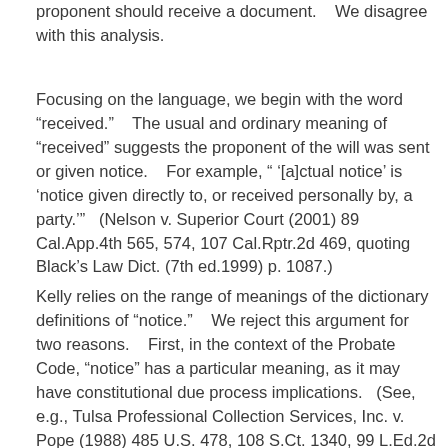proponent should receive a document.    We disagree with this analysis.
Focusing on the language, we begin with the word “received.”    The usual and ordinary meaning of “received” suggests the proponent of the will was sent or given notice.    For example, “ ‘[a]ctual notice’ is ‘notice given directly to, or received personally by, a party.’”    (Nelson v. Superior Court (2001) 89 Cal.App.4th 565, 574, 107 Cal.Rptr.2d 469, quoting Black’s Law Dict. (7th ed.1999) p. 1087.)
Kelly relies on the range of meanings of the dictionary definitions of “notice.”    We reject this argument for two reasons.    First, in the context of the Probate Code, “notice” has a particular meaning, as it may have constitutional due process implications.    (See, e.g., Tulsa Professional Collection Services, Inc. v. Pope (1988) 485 U.S. 478, 108 S.Ct. 1340, 99 L.Ed.2d 565 [holding due process requires